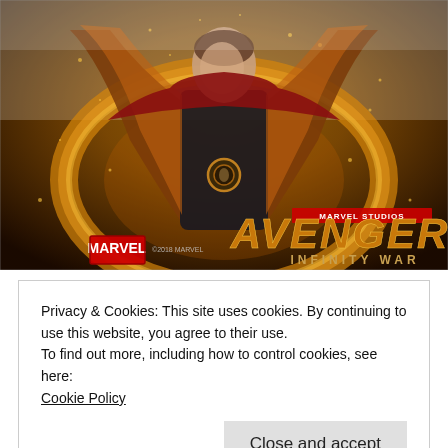[Figure (photo): Movie promotional image for Avengers: Infinity War by Marvel Studios, showing Doctor Strange with a glowing orange magical energy cape/shield, wearing a dark costume with an amulet. Marvel Studios and Avengers Infinity War logos visible at bottom of image.]
Privacy & Cookies: This site uses cookies. By continuing to use this website, you agree to their use.
To find out more, including how to control cookies, see here:
Cookie Policy
Close and accept
surprised if it was top ten lists of movies come